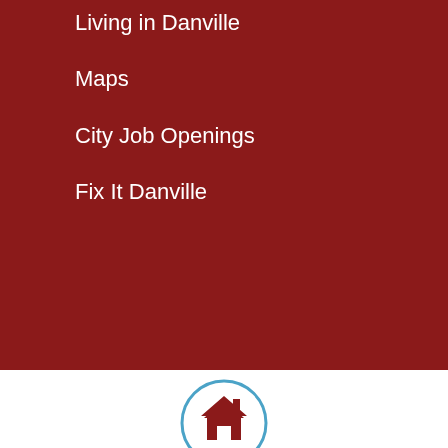Living in Danville
Maps
City Job Openings
Fix It Danville
[Figure (illustration): Home icon in a circle with blue border]
[Figure (illustration): Facebook icon (letter f) in a circle with blue border]
[Figure (illustration): Twitter bird icon in a circle with blue border]
[Figure (illustration): Instagram camera icon in a circle with blue border]